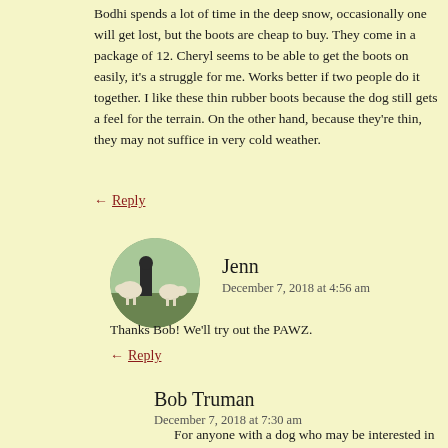Bodhi spends a lot of time in the deep snow, occasionally one will get lost, but the boots are cheap to buy. They come in a package of 12. Cheryl seems to be able to get the boots on easily, it's a struggle for me. Works better if two people do it together. I like these thin rubber boots because the dog still gets a feel for the terrain. On the other hand, because they're thin, they may not suffice in very cold weather.
← Reply
[Figure (photo): Circular avatar photo of a person with animals (goats) outdoors]
Jenn
December 7, 2018 at 4:56 am
Thanks Bob! We'll try out the PAWZ.
← Reply
Bob Truman
December 7, 2018 at 7:30 am
For anyone with a dog who may be interested in these boots, here's a link to their website with more information PAWZ Dog Boots